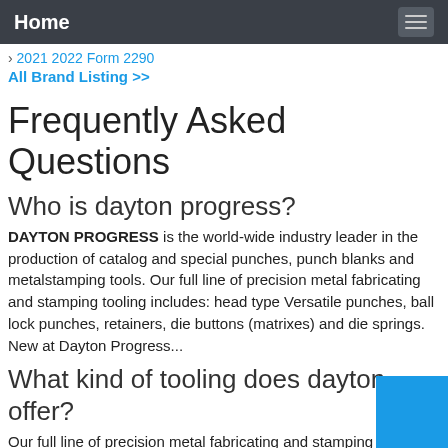Home
> 2021 2022 Form 2290
All Brand Listing >>
Frequently Asked Questions
Who is dayton progress?
DAYTON PROGRESS is the world-wide industry leader in the production of catalog and special punches, punch blanks and metalstamping tools. Our full line of precision metal fabricating and stamping tooling includes: head type Versatile punches, ball lock punches, retainers, die buttons (matrixes) and die springs. New at Dayton Progress...
What kind of tooling does dayton offer?
Our full line of precision metal fabricating and stamping tooling